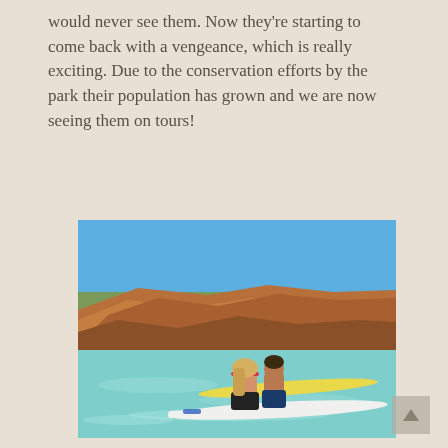would never see them. Now they're starting to come back with a vengeance, which is really exciting. Due to the conservation efforts by the park their population has grown and we are now seeing them on tours!
[Figure (photo): Two people kneeling on stand-up paddleboards in clear shallow turquoise water, with rocky red-orange cliffs and scrubby vegetation in the background under a bright blue sky.]